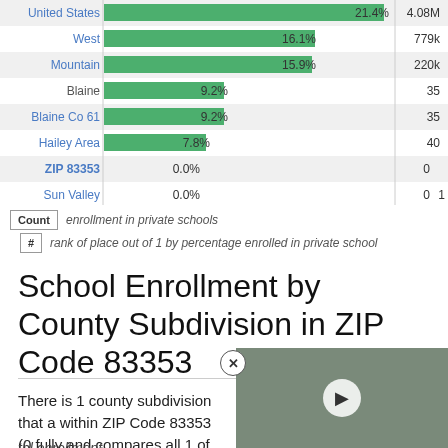[Figure (bar-chart): Private School Enrollment Comparison]
Count  enrollment in private schools
#  rank of place out of 1 by percentage enrolled in private school
School Enrollment by County Subdivision in ZIP Code 83353
There is 1 county subdivision that a within ZIP Code 83353 (0 fully and compares all 1 of those to each oth entities that contain or substantially